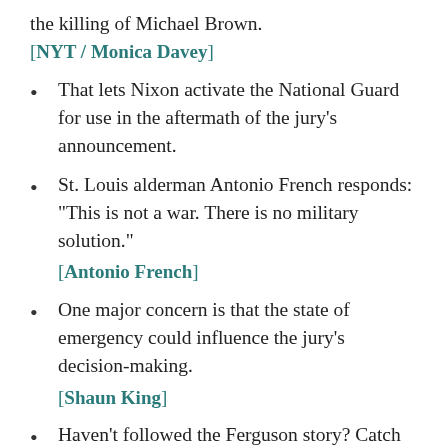the killing of Michael Brown.
[NYT / Monica Davey]
That lets Nixon activate the National Guard for use in the aftermath of the jury's announcement.
St. Louis alderman Antonio French responds: "This is not a war. There is no military solution." [Antonio French]
One major concern is that the state of emergency could influence the jury's decision-making. [Shaun King]
Haven't followed the Ferguson story? Catch up